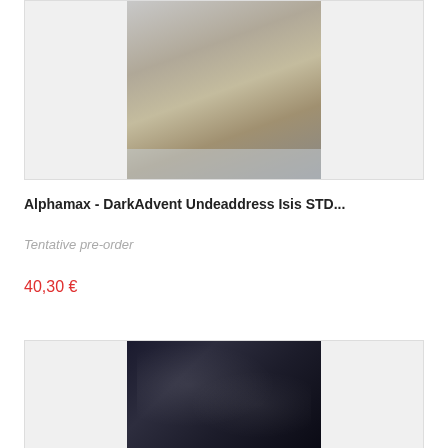[Figure (photo): Product photo of Alphamax DarkAdvent Undeaddress Isis STD anime figure showing a gold and teal armored female figure holding a staff, on a clear display base, against a gray background]
Alphamax - DarkAdvent Undeaddress Isis STD...
Tentative pre-order
40,30 €
[Figure (photo): Product photo of an anime figure of a girl in white kimono with long silver hair against a dark marble/lightning background]